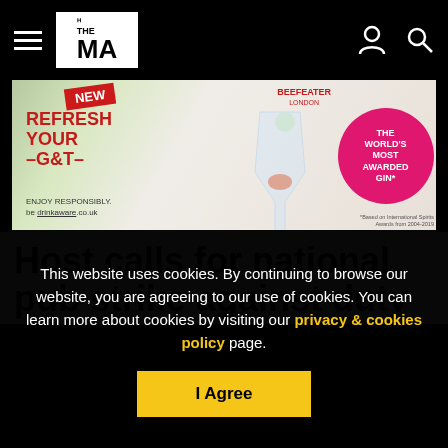THE MA navigation header with hamburger menu, logo, user icon, search icon
[Figure (photo): Beefeater Gin advertisement banner: 'REFRESH YOUR -G&T-' with 'NEW' badge, gin bottle, cocktail glass, 'THE WORLD'S MOST AWARDED GIN*', 'ENJOY RESPONSIBLY. be drinkaware.co.uk', '*Based on International Spirits Awards from 2004-2019']
Host calls for national pub strike against duty
This website uses cookies. By continuing to browse our website, you are agreeing to our use of cookies. You can learn more about cookies by visiting our privacy & cookies policy page.
I Agree